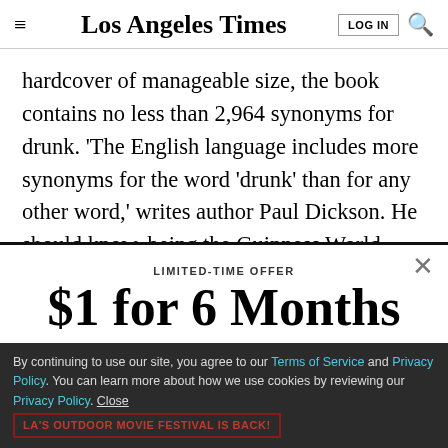Los Angeles Times
hardcover of manageable size, the book contains no less than 2,964 synonyms for drunk. ‘The English language includes more synonyms for the word ‘drunk’ than for any other word,’ writes author Paul Dickson. He should know, being the Guinness World Records holder for
LIMITED-TIME OFFER
$1 for 6 Months
SUBSCRIBE NOW
By continuing to use our site, you agree to our Terms of Service and Privacy Policy. You can learn more about how we use cookies by reviewing our Privacy Policy. Close
LA'S OUTDOOR MOVIE FESTIVAL IS BACK!